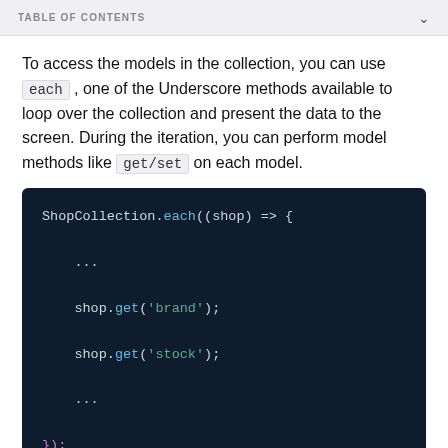TABLE OF CONTENTS
To access the models in the collection, you can use each , one of the Underscore methods available to loop over the collection and present the data to the screen. During the iteration, you can perform model methods like get/set on each model.
[Figure (screenshot): Dark-themed code block showing JavaScript: ShopCollection.each((shop) => { ... shop.get('brand'); shop.get('stock'); ... });]
Other popular methods you can use on a collection are